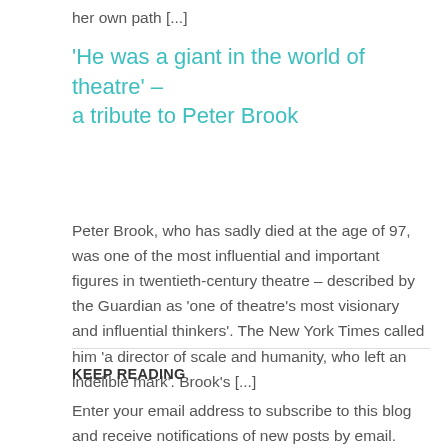her own path [...]
'He was a giant in the world of theatre' – a tribute to Peter Brook
Peter Brook, who has sadly died at the age of 97, was one of the most influential and important figures in twentieth-century theatre – described by the Guardian as 'one of theatre's most visionary and influential thinkers'. The New York Times called him 'a director of scale and humanity, who left an indelible mark'. Brook's [...]
KEEP READING
Enter your email address to subscribe to this blog and receive notifications of new posts by email.